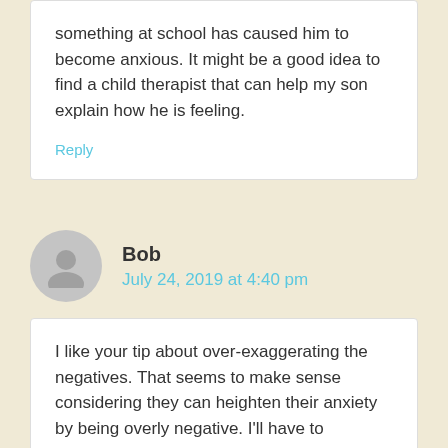something at school has caused him to become anxious. It might be a good idea to find a child therapist that can help my son explain how he is feeling.
Reply
Bob
July 24, 2019 at 4:40 pm
I like your tip about over-exaggerating the negatives. That seems to make sense considering they can heighten their anxiety by being overly negative. I'll have to